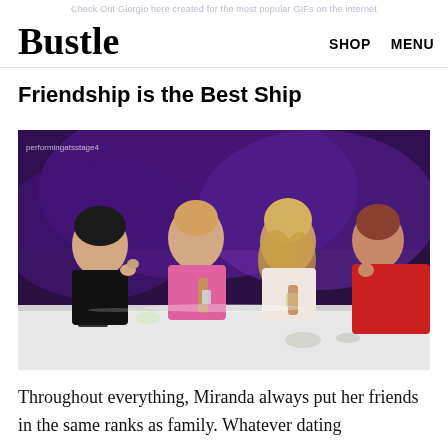Bustle  SHOP  MENU
Friendship is the Best Ship
[Figure (photo): Four women sitting at a bar counter in a nightclub with purple lighting, each holding a small shot glass or drink, dressed in evening wear. Watermark reads 'performingatsstage4'.]
Throughout everything, Miranda always put her friends in the same ranks as family. Whatever dating